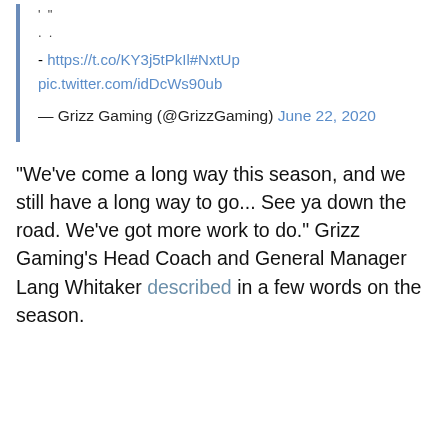' "
. .
- https://t.co/KY3j5tPkIl#NxtUp
pic.twitter.com/idDcWs90ub
— Grizz Gaming (@GrizzGaming) June 22, 2020
“We’ve come a long way this season, and we still have a long way to go... See ya down the road. We’ve got more work to do.” Grizz Gaming’s Head Coach and General Manager Lang Whitaker described in a few words on the season.